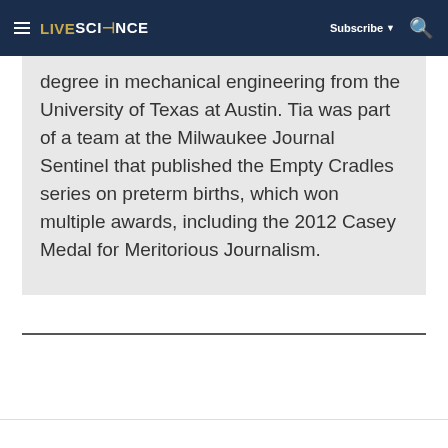LIVESCIENCE  Subscribe ▼  🔍
degree in mechanical engineering from the University of Texas at Austin. Tia was part of a team at the Milwaukee Journal Sentinel that published the Empty Cradles series on preterm births, which won multiple awards, including the 2012 Casey Medal for Meritorious Journalism.